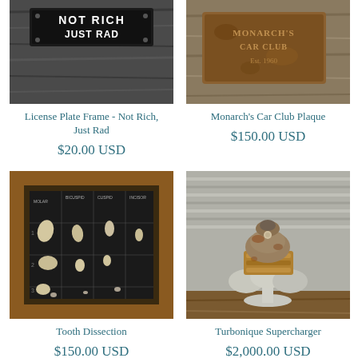[Figure (photo): License plate frame sign reading NOT RICH on dark wood background]
License Plate Frame - Not Rich, Just Rad
$20.00 USD
[Figure (photo): Monarch's Car Club Plaque - rusty metal plaque with raised letters on wooden surface]
Monarch's Car Club Plaque
$150.00 USD
[Figure (photo): Tooth Dissection - framed display of extracted teeth on black labeled background in wooden frame]
Tooth Dissection
$150.00 USD
[Figure (photo): Turbonique Supercharger - vintage mechanical supercharger device, silver and rust colored, on stand]
Turbonique Supercharger
$2,000.00 USD